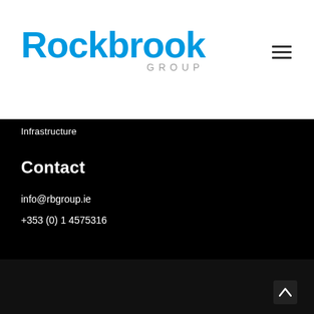[Figure (logo): Rockbrook Group logo with blue 'Rockbrook' text and grey 'GROUP' subtitle]
Infrastructure
Contact
info@rbgroup.ie
+353 (0) 1 4575316